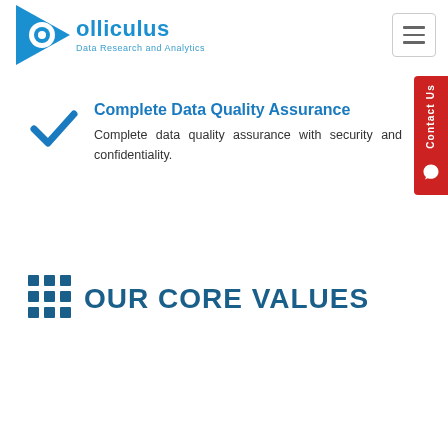[Figure (logo): Colliculus logo — blue triangle with eye motif and 'Colliculus Data Research and Analytics' text in blue]
Complete Data Quality Assurance
Complete data quality assurance with security and confidentiality.
OUR CORE VALUES